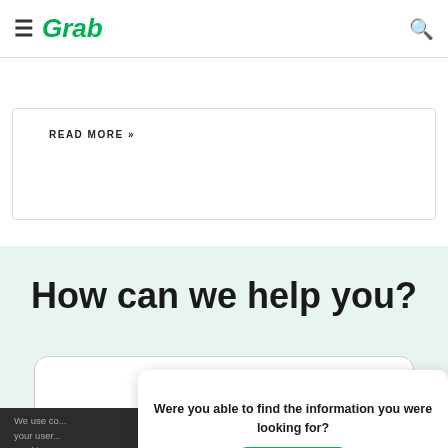Grab
Customer Feedback: How Important It Is and How to Effectively Collect It
READ MORE »
How can we help you?
Were you able to find the information you were looking for?
Reply
We use co... your user... Cookies w...